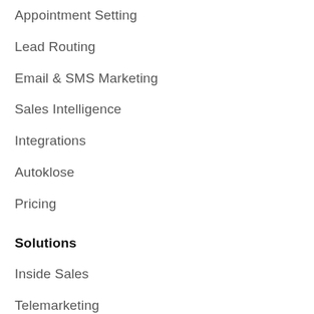Appointment Setting
Lead Routing
Email & SMS Marketing
Sales Intelligence
Integrations
Autoklose
Pricing
Solutions
Inside Sales
Telemarketing
Call Center
Lead Management